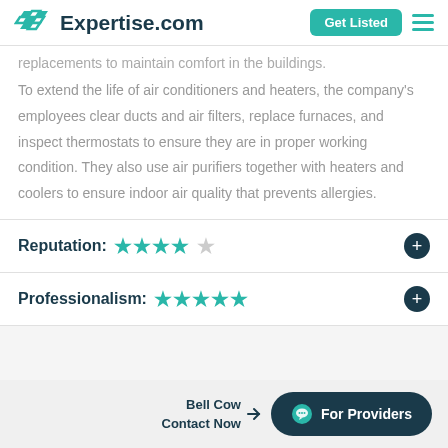Expertise.com | Get Listed
replacements to maintain comfort in the buildings. To extend the life of air conditioners and heaters, the company's employees clear ducts and air filters, replace furnaces, and inspect thermostats to ensure they are in proper working condition. They also use air purifiers together with heaters and coolers to ensure indoor air quality that prevents allergies.
Reputation: ★★★★☆
Professionalism: ★★★★★
Bell Cow Contact Now | For Providers